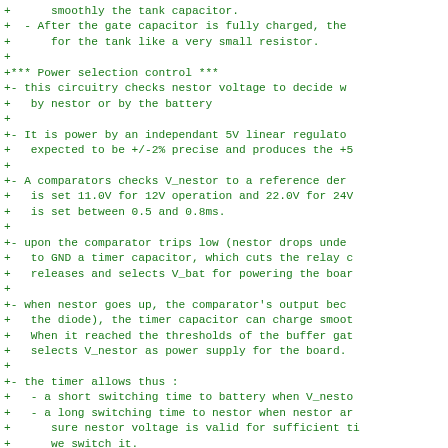+      smoothly the tank capacitor.
+  - After the gate capacitor is fully charged, the
+      for the tank like a very small resistor.
+
+*** Power selection control ***
+- this circuitry checks nestor voltage to decide w
+   by nestor or by the battery
+
+- It is power by an independant 5V linear regulato
+   expected to be +/-2% precise and produces the +5
+
+- A comparators checks V_nestor to a reference der
+   is set 11.0V for 12V operation and 22.0V for 24V
+   is set between 0.5 and 0.8ms.
+
+- upon the comparator trips low (nestor drops unde
+   to GND a timer capacitor, which cuts the relay c
+   releases and selects V_bat for powering the boar
+
+- when nestor goes up, the comparator's output bec
+   the diode), the timer capacitor can charge smoot
+   When it reached the thresholds of the buffer gat
+   selects V_nestor as power supply for the board.
+
+- the timer allows thus :
+   - a short switching time to battery when V_nesto
+   - a long switching time to nestor when nestor ar
+      sure nestor voltage is valid for sufficient ti
+      we switch it.
+